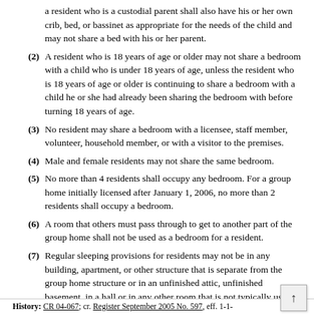a resident who is a custodial parent shall also have his or her own crib, bed, or bassinet as appropriate for the needs of the child and may not share a bed with his or her parent.
(2) A resident who is 18 years of age or older may not share a bedroom with a child who is under 18 years of age, unless the resident who is 18 years of age or older is continuing to share a bedroom with a child he or she had already been sharing the bedroom with before turning 18 years of age.
(3) No resident may share a bedroom with a licensee, staff member, volunteer, household member, or with a visitor to the premises.
(4) Male and female residents may not share the same bedroom.
(5) No more than 4 residents shall occupy any bedroom. For a group home initially licensed after January 1, 2006, no more than 2 residents shall occupy a bedroom.
(6) A room that others must pass through to get to another part of the group home shall not be used as a bedroom for a resident.
(7) Regular sleeping provisions for residents may not be in any building, apartment, or other structure that is separate from the group home structure or in an unfinished attic, unfinished basement, in a hall or in any other room that is not typically used for sleeping purposes. No household member may be permitted to regularly sleep in any of these areas in order to accommodate a resident.
History: CR 04-067; cr. Register September 2005 No. 597, eff. 1-1-